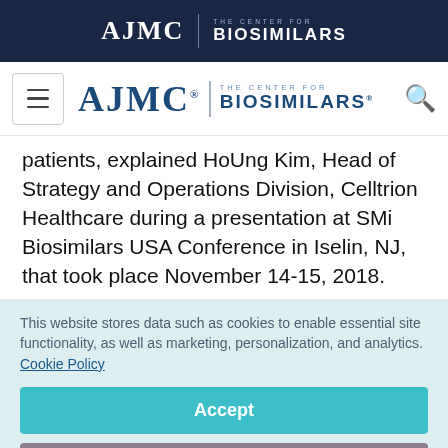[Figure (logo): AJMC and The Center for Biosimilars logo in dark navy banner at top of page]
[Figure (logo): AJMC | THE CENTER FOR BIOSIMILARS navigation bar logo with hamburger menu and search icon]
patients, explained HoUng Kim, Head of Strategy and Operations Division, Celltrion Healthcare during a presentation at SMi Biosimilars USA Conference in Iselin, NJ, that took place November 14-15, 2018.
This website stores data such as cookies to enable essential site functionality, as well as marketing, personalization, and analytics. Cookie Policy
Accept
Deny